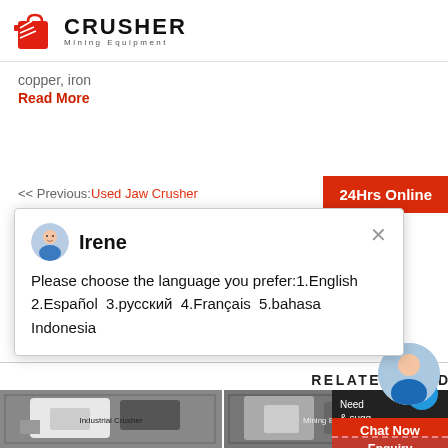CRUSHER Mining Equipment
copper, iron
Read More
<< Previous: Used Jaw Crusher
24Hrs Online
[Figure (screenshot): Chat popup with avatar of Irene showing language selection message]
Irene
Please choose the language you prefer:1.English 2.Español 3.русский 4.Français 5.bahasa Indonesia
RELATED PRODUCTS
[Figure (photo): Photo of white industrial crusher/mining equipment in a factory]
[Figure (photo): Photo of industrial mining equipment in a factory]
Need & sugg...
1
Chat Now
Enquiry
limingjlmofen@sina.com